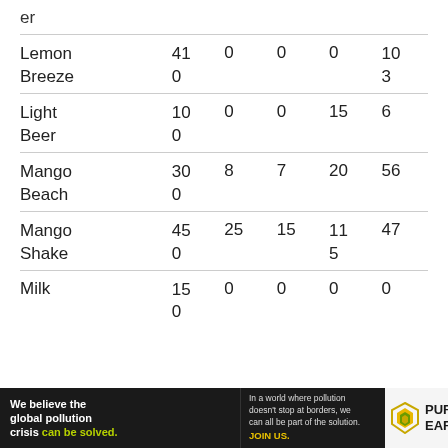er
| Lemon Breeze | 410 | 0 | 0 | 0 | 103 |
| Light Beer | 100 | 0 | 0 | 15 | 6 |
| Mango Beach | 300 | 8 | 7 | 20 | 56 |
| Mango Shake | 450 | 25 | 15 | 115 | 47 |
| Milk | 150 | 0 | 0 | 0 | 0 |
[Figure (other): Pure Earth advertisement banner: 'We believe the global pollution crisis can be solved.' with Pure Earth logo]